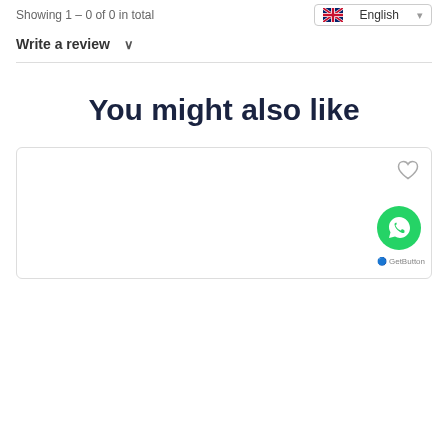Showing 1 - 0 of 0 in total
English
Write a review ∨
You might also like
[Figure (screenshot): Product card with heart/wishlist icon and WhatsApp GetButton overlay]